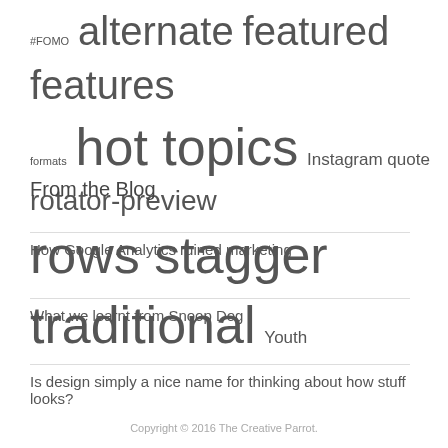#FOMO alternate featured features formats hot topics Instagram quote rotator-preview rows stagger traditional Youth
From the Blog
How Google Analytics ruined marketing
What we learnt from Snoop Dog
Is design simply a nice name for thinking about how stuff looks?
Copyright © 2016 The Creative Parrot.